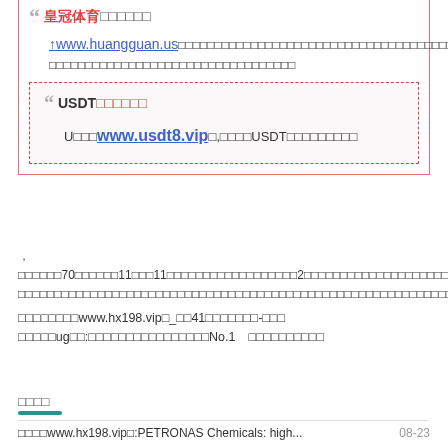❝ 皇冠体育...
↑www.huangguan.us（中文域名：皇冠体育.com），皇冠网，皇冠体育，菠菜体育，菠菜平台，菠菜网站，皇冠线上，皇冠代理，皇冠开户，皇冠博彩，
❝ USDT博彩平台

U币买彩www.usdt8.vip↑，用比特币USDT在线博彩平台
，
骑手达到70%就可以11点或11点半下班，公司不设置2人以上...考核...不合格则扣6元一单...骑手无责任...随时可以...
推薦阅读www.hx198.vip↑_↑嗯41嗯那就是嗯-那就
爱上博ug博：菠菜平台大全推荐No.1 菠菜平台大全导航
相关推荐
推薦阅读www.hx198.vip↑:PETRONAS Chemicals: high...
08-23